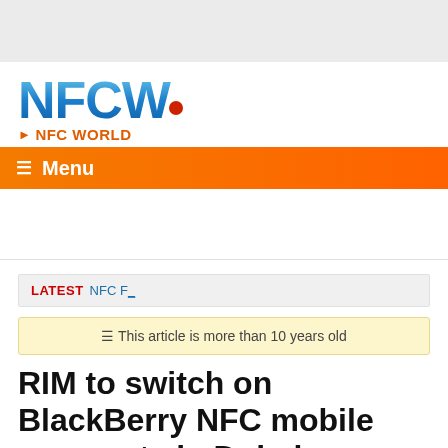[Figure (logo): NFCW logo with blue gradient letters and red dot, NFC WORLD tagline in orange below]
≡ Menu
LATEST NFC F…
⏱ This article is more than 10 years old
RIM to switch on BlackBerry NFC mobile payments in Dubai